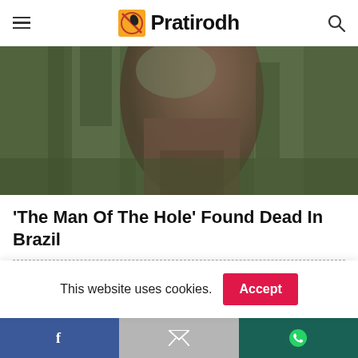Pratirodh
[Figure (photo): Blurry photo of a person in a forest/jungle setting, wearing brown clothing, surrounded by green trees and vegetation.]
‘The Man Of The Hole’ Found Dead In Brazil
RECENT POSTS
[Figure (photo): Partial view of a recent posts thumbnail image, partially cut off at the bottom of the visible area.]
This website uses cookies.
Accept